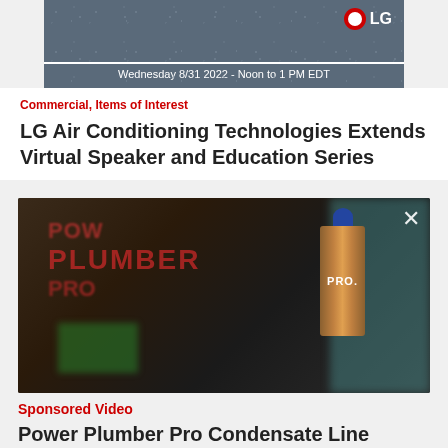[Figure (screenshot): LG branded webinar or event promotional image with dark background showing 'Wednesday 8/31 2022 - Noon to 1 PM EDT' text and LG logo in top right corner]
Commercial, Items of Interest
LG Air Conditioning Technologies Extends Virtual Speaker and Education Series
[Figure (screenshot): Blurry video screenshot showing Power Plumber Pro condensate line cleaner product with red text and a spray can on the right side against a teal background. An X close button is visible in the top right.]
Sponsored Video
Power Plumber Pro Condensate Line Cleaner Demonstration